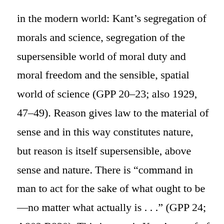in the modern world: Kant’s segregation of morals and science, segregation of the supersensible world of moral duty and moral freedom and the sensible, spatial world of science (GPP 20–23; also 1929, 47–49). Reason gives law to the material of sense and in this way constitutes nature, but reason is itself supersensible, above sense and nature. There is “command in man to act for the sake of what ought to be—no matter what actually is . . .” (GPP 24; A802 B830). This in man is Kant’s proof of the operation of supersensible reason within human experience. The command of reason’s law from within is addressed to a free moral will, which also belongs to the